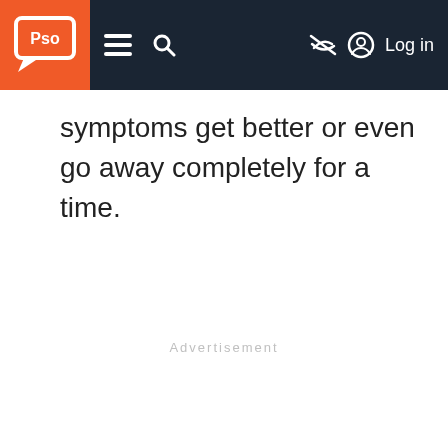Pso | Navigation header with logo, menu, search, visibility toggle, and Log in
symptoms get better or even go away completely for a time.
Advertisement